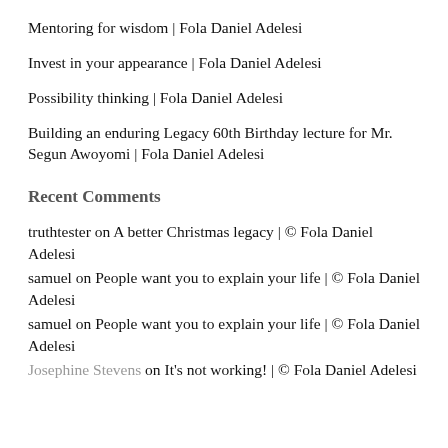Mentoring for wisdom | Fola Daniel Adelesi
Invest in your appearance | Fola Daniel Adelesi
Possibility thinking | Fola Daniel Adelesi
Building an enduring Legacy 60th Birthday lecture for Mr. Segun Awoyomi | Fola Daniel Adelesi
Recent Comments
truthtester on A better Christmas legacy | © Fola Daniel Adelesi
samuel on People want you to explain your life | © Fola Daniel Adelesi
samuel on People want you to explain your life | © Fola Daniel Adelesi
Josephine Stevens on It's not working! | © Fola Daniel Adelesi